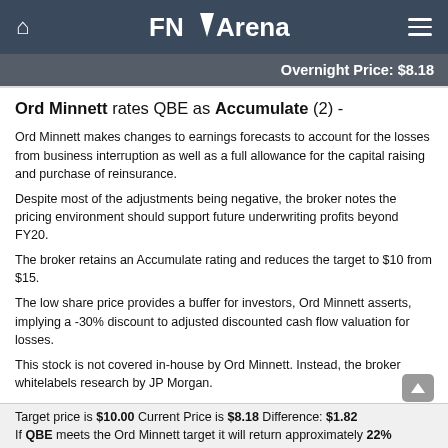FNArena
Overnight Price: $8.18
Ord Minnett rates QBE as Accumulate (2) -
Ord Minnett makes changes to earnings forecasts to account for the losses from business interruption as well as a full allowance for the capital raising and purchase of reinsurance.
Despite most of the adjustments being negative, the broker notes the pricing environment should support future underwriting profits beyond FY20.
The broker retains an Accumulate rating and reduces the target to $10 from $15.
The low share price provides a buffer for investors, Ord Minnett asserts, implying a -30% discount to adjusted discounted cash flow valuation for losses.
This stock is not covered in-house by Ord Minnett. Instead, the broker whitelabels research by JP Morgan.
Target price is $10.00 Current Price is $8.18 Difference: $1.82 If QBE meets the Ord Minnett target it will return approximately 22%